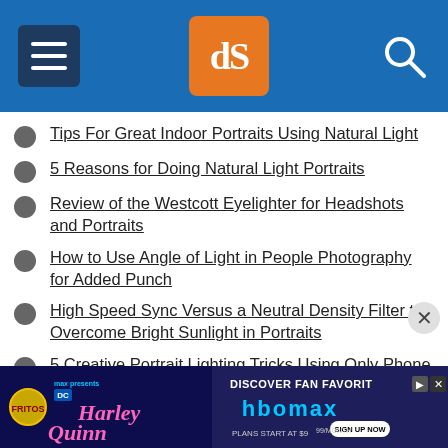dPS navigation header with hamburger menu, logo, and search icon
Tips For Great Indoor Portraits Using Natural Light
5 Reasons for Doing Natural Light Portraits
Review of the Westcott Eyelighter for Headshots and Portraits
How to Use Angle of Light in People Photography for Added Punch
High Speed Sync Versus a Neutral Density Filter to Overcome Bright Sunlight in Portraits
5 Creative Portrait Lighting Tricks Using Only Phone Light
[Figure (screenshot): Advertisement banner for Harley Quinn on HBO Max - Discover Fan Favorites, plans start at $9.99/month]